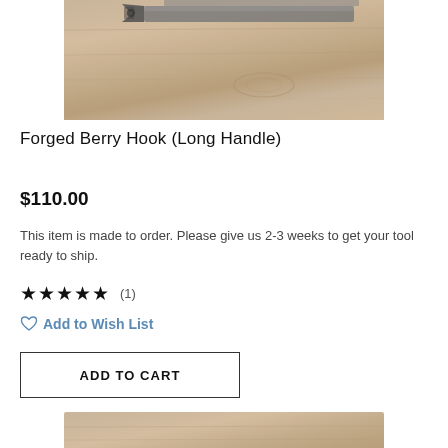[Figure (photo): A forged metal berry hook tool with a long handle resting on a weathered wooden surface, viewed from above. Metal tool head is visible at top.]
Forged Berry Hook (Long Handle)
$110.00
This item is made to order. Please give us 2-3 weeks to get your tool ready to ship.
★★★★★ (1)
Add to Wish List
ADD TO CART
[Figure (photo): Bottom portion of wooden surface, partially visible at the bottom of the page.]